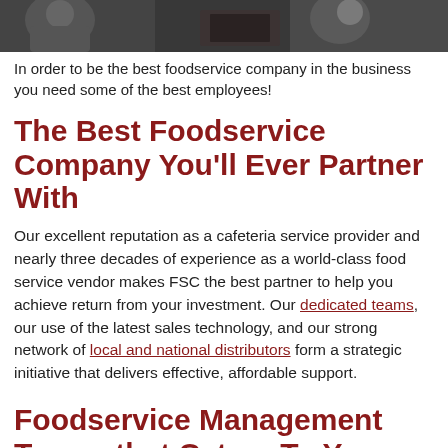[Figure (photo): Photo of people in a foodservice/cafeteria setting, partially cropped at top of page]
In order to be the best foodservice company in the business you need some of the best employees!
The Best Foodservice Company You'll Ever Partner With
Our excellent reputation as a cafeteria service provider and nearly three decades of experience as a world-class food service vendor makes FSC the best partner to help you achieve return from your investment. Our dedicated teams, our use of the latest sales technology, and our strong network of local and national distributors form a strategic initiative that delivers effective, affordable support.
Foodservice Management Teams that Caters To Your